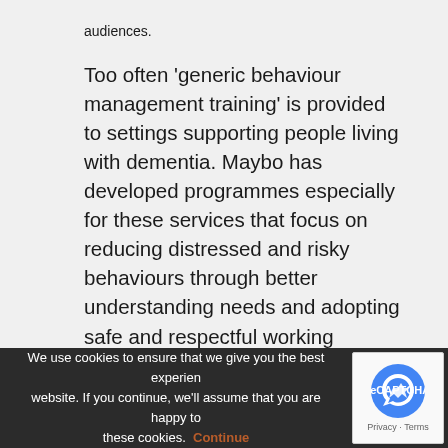audiences.
Too often 'generic behaviour management training' is provided to settings supporting people living with dementia. Maybo has developed programmes especially for these services that focus on reducing distressed and risky behaviours through better understanding needs and adopting safe and respectful working practices. This reduces the need for 'restraint' and builds staff confidence in alternatives.
We use cookies to ensure that we give you the best experience on our website. If you continue, we'll assume that you are happy to receive these cookies. Continue